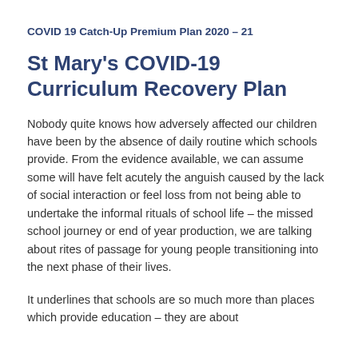COVID 19 Catch-Up Premium Plan 2020 – 21
St Mary's COVID-19 Curriculum Recovery Plan
Nobody quite knows how adversely affected our children have been by the absence of daily routine which schools provide. From the evidence available, we can assume some will have felt acutely the anguish caused by the lack of social interaction or feel loss from not being able to undertake the informal rituals of school life – the missed school journey or end of year production, we are talking about rites of passage for young people transitioning into the next phase of their lives.
It underlines that schools are so much more than places which provide education – they are about